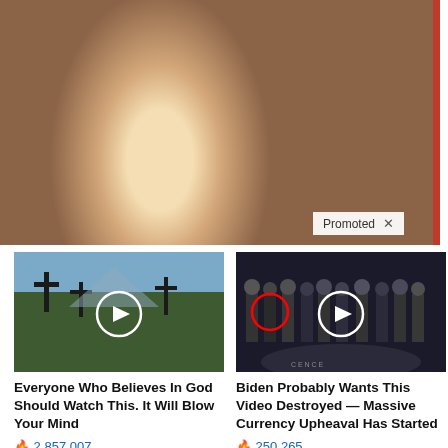[Figure (photo): Promotional photo of a blonde woman and an older man with grey beard smiling together, with a 'Promoted X' badge in the bottom right corner]
[Figure (photo): Thumbnail of outdoor cemetery/crosses scene with a play button circle]
Everyone Who Believes In God Should Watch This. It Will Blow Your Mind
🔥 2,857,007
[Figure (photo): Thumbnail of group of men in suits at CIA lobby with red circle highlight and play button]
Biden Probably Wants This Video Destroyed — Massive Currency Upheaval Has Started
🔥 250,265